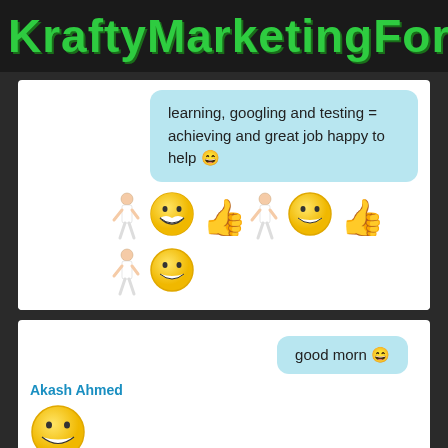KraftyMarketingFor
learning, googling and testing = achieving and great job happy to help 😄
[Figure (illustration): Row of emojis and dancing person figures: person dancing, big grin emoji, thumbs up emoji, person dancing, big grin emoji, thumbs up emoji, then below: person dancing, big grin emoji]
good morn 😄
Akash Ahmed
[Figure (illustration): Large grinning emoji]
[Figure (illustration): Large grinning emoji on right side]
Doan Van Vu
Clicks    Leads